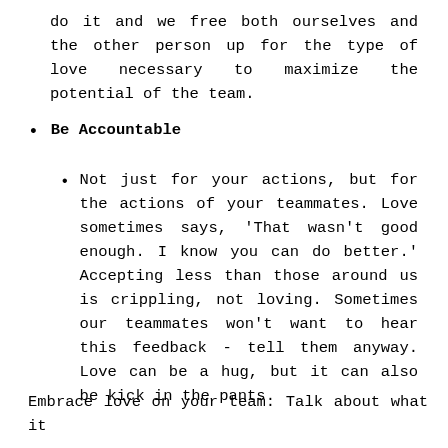do it and we free both ourselves and the other person up for the type of love necessary to maximize the potential of the team.
Be Accountable
Not just for your actions, but for the actions of your teammates. Love sometimes says, 'That wasn't good enough. I know you can do better.' Accepting less than those around us is crippling, not loving. Sometimes our teammates won't want to hear this feedback - tell them anyway. Love can be a hug, but it can also be kick in the pants.
Embrace love on your team. Talk about what it